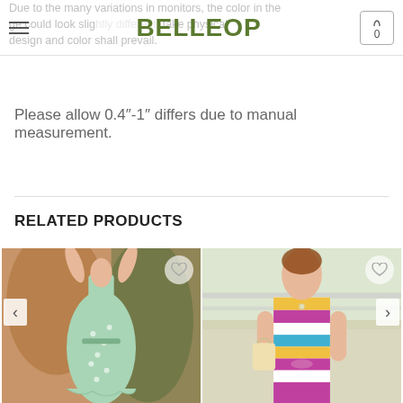BELLEOP
Due to the many variations in monitors, the color in the image could look slightly different. take physical design and color shall prevail.
Please allow 0.4"-1" differs due to manual measurement.
RELATED PRODUCTS
[Figure (photo): Woman wearing a mint green floral spaghetti-strap maxi dress with tie waist, standing outdoors]
[Figure (photo): Woman wearing a colorful horizontal-stripe short-sleeve dress with tie waist, outdoors]